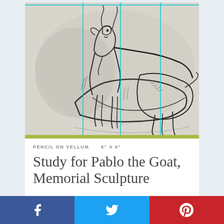[Figure (illustration): Pencil sketch study of a goat (Pablo the Goat) on vellum, showing the animal in profile with rough gestural lines. Cyan/teal grid lines overlaid on the drawing for proportion reference. Background is off-white/light gray.]
PENCIL ON VELLUM    6" X 6"
Study for Pablo the Goat, Memorial Sculpture
[Figure (infographic): Social sharing bar with three buttons: Facebook (blue), Twitter (light blue), Pinterest (red), each showing respective icons (f, bird, P).]